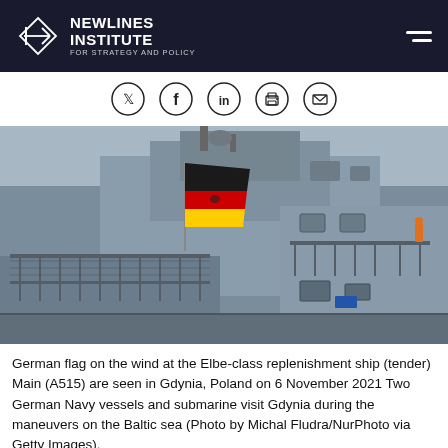NEWLINES INSTITUTE FOR STRATEGY AND POLICY
[Figure (photo): German naval vessel showing the German flag (black, red, gold with eagle) flying from the superstructure of the Elbe-class replenishment ship Main (A515), docked in Gdynia, Poland. The ship's grey metal structure, railings, and equipment are visible against an overcast sky.]
German flag on the wind at the Elbe-class replenishment ship (tender) Main (A515) are seen in Gdynia, Poland on 6 November 2021 Two German Navy vessels and submarine visit Gdynia during the maneuvers on the Baltic sea (Photo by Michal Fludra/NurPhoto via Getty Images).